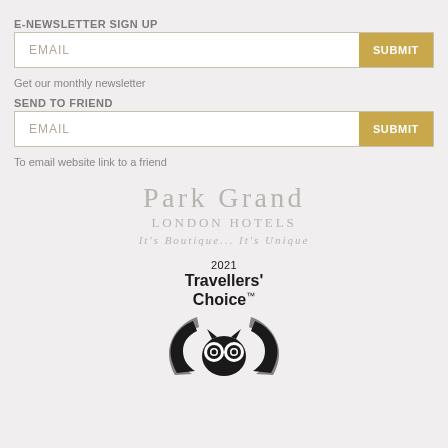E-NEWSLETTER SIGN UP
EMAIL | SUBMIT
Get our monthly newsletter
SEND TO FRIEND
EMAIL | SUBMIT
To email website link to a friend
[Figure (logo): Park Grand London Hotels logo with tagline 'It's Boutique... It's Unique']
[Figure (logo): TripAdvisor 2021 Travellers' Choice award badge with owl logo and wing motif]